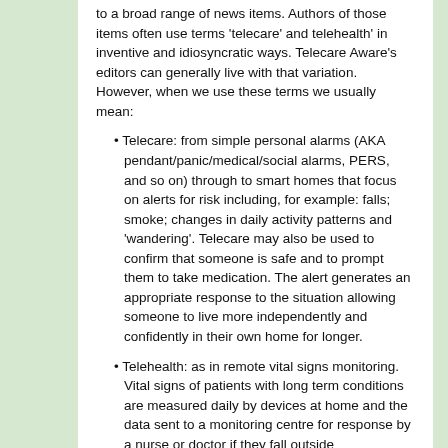to a broad range of news items. Authors of those items often use terms 'telecare' and telehealth' in inventive and idiosyncratic ways. Telecare Aware's editors can generally live with that variation. However, when we use these terms we usually mean:
• Telecare: from simple personal alarms (AKA pendant/panic/medical/social alarms, PERS, and so on) through to smart homes that focus on alerts for risk including, for example: falls; smoke; changes in daily activity patterns and 'wandering'. Telecare may also be used to confirm that someone is safe and to prompt them to take medication. The alert generates an appropriate response to the situation allowing someone to live more independently and confidently in their own home for longer.
• Telehealth: as in remote vital signs monitoring. Vital signs of patients with long term conditions are measured daily by devices at home and the data sent to a monitoring centre for response by a nurse or doctor if they fall outside predetermined norms. Telehealth has been shown to replace routine trips for check-ups; to speed interventions when health deteriorates, and to reduce stress by educating patients about their condition.
Telecare Aware's editors concentrate on what we perceive to be significant events and technological and other developments in telecare and telehealth. We make no apology for being independent and opinionated or for trying to be interesting rather than comprehensive.